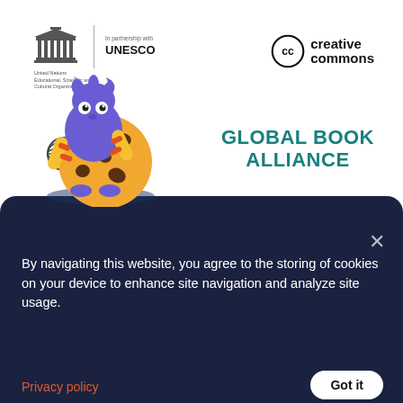[Figure (logo): UNESCO logo with building icon and text 'In partnership with UNESCO', United Nations Educational, Scientific and Cultural Organization]
[Figure (logo): Creative Commons logo with CC circle icon and 'creative commons' text]
[Figure (logo): Norad logo with globe icon and 'Norad' text]
[Figure (logo): Global Book Alliance logo in teal bold text]
[Figure (illustration): Cookie monster illustration: blue furry monster character hugging a large yellow cookie with chocolate chips]
By navigating this website, you agree to the storing of cookies on your device to enhance site navigation and analyze site usage.
Privacy policy
Got it